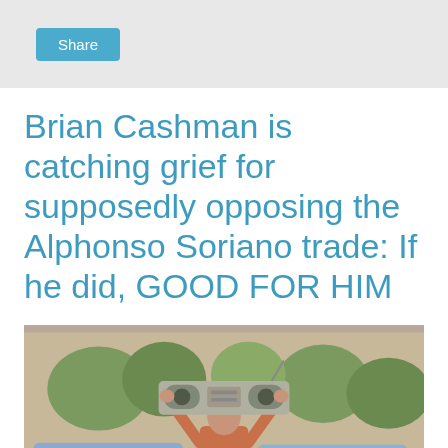Share
Brian Cashman is catching grief for supposedly opposing the Alphonso Soriano trade: If he did, GOOD FOR HIM
[Figure (photo): Man in orange coat holding a boombox above his head, standing in front of a car outdoors — iconic scene resembling Say Anything movie still]